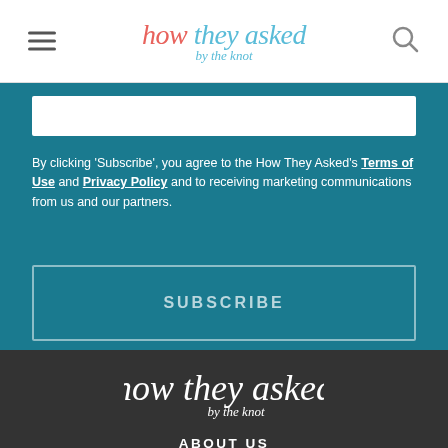how they asked by the knot
By clicking 'Subscribe', you agree to the How They Asked's Terms of Use and Privacy Policy and to receiving marketing communications from us and our partners.
SUBSCRIBE
[Figure (logo): How They Asked by the Knot logo in white on dark background]
ABOUT US
CONTACT